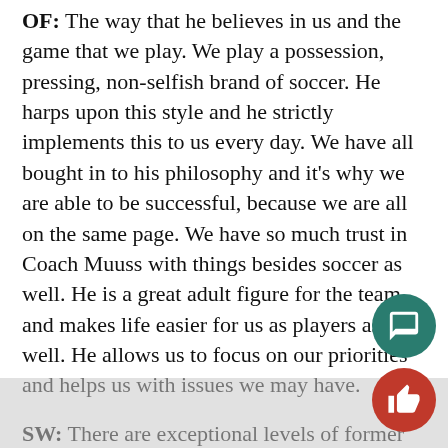OF: The way that he believes in us and the game that we play. We play a possession, pressing, non-selfish brand of soccer. He harps upon this style and he strictly implements this to us every day. We have all bought in to his philosophy and it's why we are able to be successful, because we are all on the same page. We have so much trust in Coach Muuss with things besides soccer as well. He is a great adult figure for the team and makes life easier for us as players as well. He allows us to focus on our priorities and helps us with issues we may have.
SW: There are exceptional levels of former players in the MLS now, what is the culture of the program in terms of continued success after Wake?
OF: This Wake Forest Soccer program has created a powerhouse. As I see it, there are so many opportunities and doors that open by working hard…